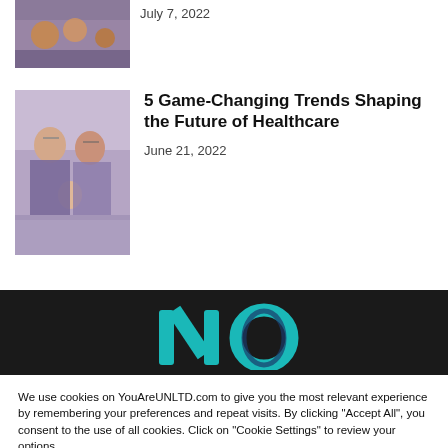[Figure (photo): Thumbnail photo of people at a table, partially visible at top]
July 7, 2022
[Figure (photo): Older couple with babies, smiling]
5 Game-Changing Trends Shaping the Future of Healthcare
June 21, 2022
[Figure (logo): YouAreUNLTD logo on dark background, teal and navy letters N and O visible]
We use cookies on YouAreUNLTD.com to give you the most relevant experience by remembering your preferences and repeat visits. By clicking “Accept All”, you consent to the use of all cookies. Click on “Cookie Settings” to review your options.
Cookie Settings
Accept All